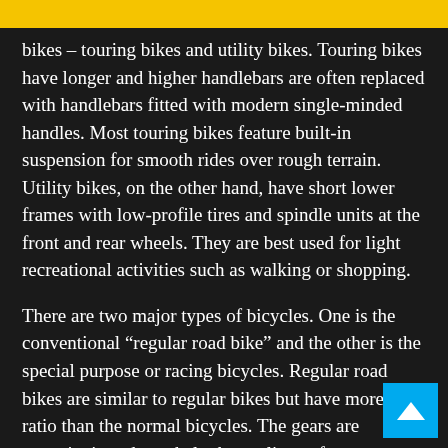bikes – touring bikes and utility bikes. Touring bikes have longer and higher handlebars are often replaced with handlebars fitted with modern single-minded handles. Most touring bikes feature built-in suspension for smooth rides over rough terrain. Utility bikes, on the other hand, have short lower frames with low-profile tires and spindle units at the front and rear wheels. They are best used for light recreational activities such as walking or shopping.
There are two major types of bicycles. One is the conventional “regular road bike” and the other is the special purpose or racing bicycles. Regular road bikes are similar to regular bikes but have more gear ratio than the normal bicycles. The gears are opposite in order to help the cyclist go faster over